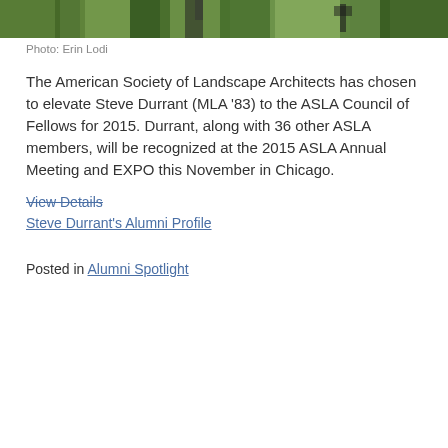[Figure (photo): Outdoor photo showing a person among trees with green foliage]
Photo: Erin Lodi
The American Society of Landscape Architects has chosen to elevate Steve Durrant (MLA '83) to the ASLA Council of Fellows for 2015. Durrant, along with 36 other ASLA members, will be recognized at the 2015 ASLA Annual Meeting and EXPO this November in Chicago.
View Details
Steve Durrant's Alumni Profile
Posted in Alumni Spotlight